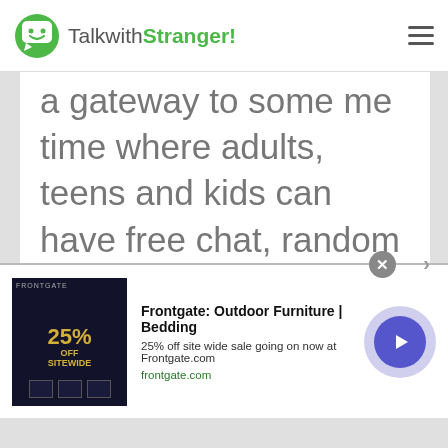TalkwithStranger!
a gateway to some me time where adults, teens and kids can have free chat, random chat, stranger chat whether text chat or video chat with anyone around the globe. Get yourself away from Monday blues and find love and laughter with chat in Estonia and make new friends.
[Figure (screenshot): Advertisement banner for Frontgate: Outdoor Furniture | Bedding. Shows '25% OFF SITEWIDE' text on dark background image, with title 'Frontgate: Outdoor Furniture | Bedding', description '25% off site wide sale going on now at Frontgate.com', domain 'frontgate.com', and a blue play/arrow button on the right.]